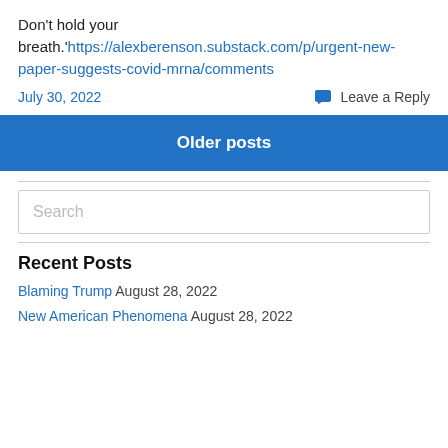Don't hold your breath.'https://alexberenson.substack.com/p/urgent-new-paper-suggests-covid-mrna/comments
July 30, 2022   Leave a Reply
Older posts
Search
Recent Posts
Blaming Trump August 28, 2022
New American Phenomena August 28, 2022